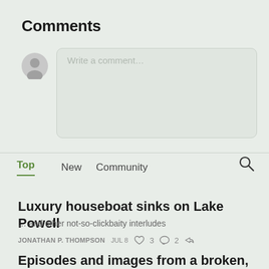Comments
[Figure (other): User avatar placeholder icon (grey circle with person silhouette)]
Write a comment...
Top  New  Community
Luxury houseboat sinks on Lake Powell
... and other not-so-clickbaity interludes
JONATHAN P. THOMPSON   JUL 8   ♡ 3   ○ 2   ↗
Episodes and images from a broken, beautiful America